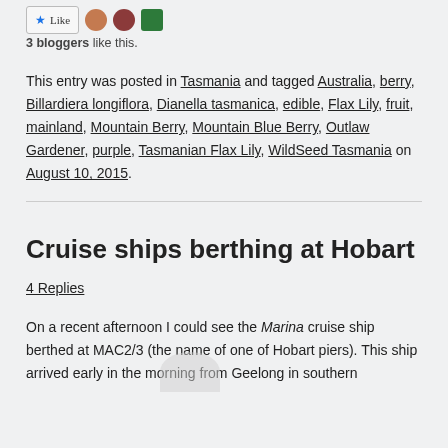3 bloggers like this.
This entry was posted in Tasmania and tagged Australia, berry, Billardiera longiflora, Dianella tasmanica, edible, Flax Lily, fruit, mainland, Mountain Berry, Mountain Blue Berry, Outlaw Gardener, purple, Tasmanian Flax Lily, WildSeed Tasmania on August 10, 2015.
Cruise ships berthing at Hobart
4 Replies
On a recent afternoon I could see the Marina cruise ship berthed at MAC2/3 (the name of one of Hobart piers). This ship arrived early in the morning from Geelong in southern